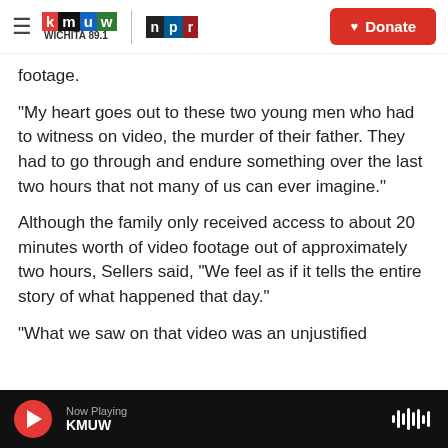KMUW Wichita 89.1 | NPR | Donate
footage.
"My heart goes out to these two young men who had to witness on video, the murder of their father. They had to go through and endure something over the last two hours that not many of us can ever imagine."
Although the family only received access to about 20 minutes worth of video footage out of approximately two hours, Sellers said, "We feel as if it tells the entire story of what happened that day."
"What we saw on that video was an unjustified
Now Playing KMUW